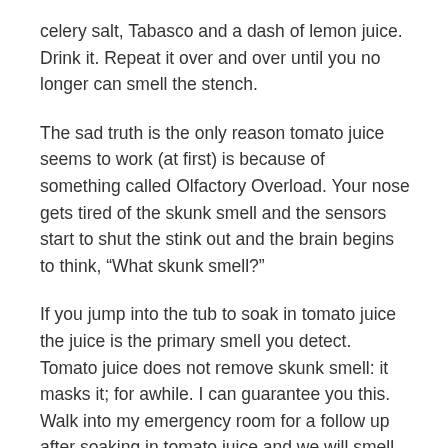celery salt, Tabasco and a dash of lemon juice. Drink it. Repeat it over and over until you no longer can smell the stench.
The sad truth is the only reason tomato juice seems to work (at first) is because of something called Olfactory Overload. Your nose gets tired of the skunk smell and the sensors start to shut the stink out and the brain begins to think, “What skunk smell?”
If you jump into the tub to soak in tomato juice the juice is the primary smell you detect. Tomato juice does not remove skunk smell: it masks it; for awhile. I can guarantee you this. Walk into my emergency room for a follow up after soaking in tomato juice and we will smell the skunk odor and the juice. The grimacing triage nurse won’t have to ask, “What brings you here today sir?”
We will know. We won’t laugh. Well-not until after you